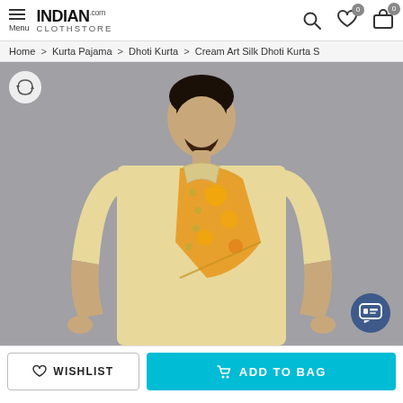Menu | INDIAN CLOTHSTORE.COM | Search | Wishlist 0 | Cart 0
Home > Kurta Pajama > Dhoti Kurta > Cream Art Silk Dhoti Kurta S
[Figure (photo): A man wearing a cream/gold art silk dhoti kurta with orange floral embroidered overlay panel and buttons, photographed against a grey background]
WISHLIST | ADD TO BAG